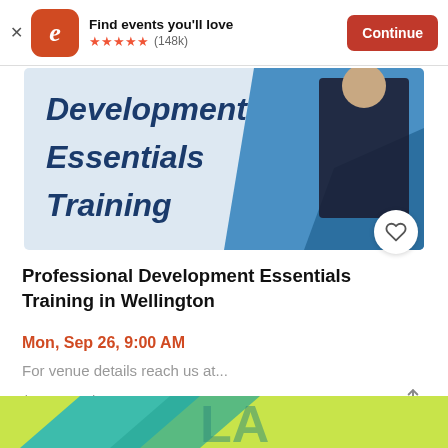Find events you'll love ★★★★★ (148k) Continue
[Figure (photo): Promotional banner image for Professional Development Essentials Training showing bold blue italic text on light background with a businessman in a suit on the right side]
Professional Development Essentials Training in Wellington
Mon, Sep 26, 9:00 AM
For venue details reach us at...
$627.12 - $836.32
[Figure (photo): Bottom strip showing partial lime green and teal graphic, partially visible letters 'LA' or similar]